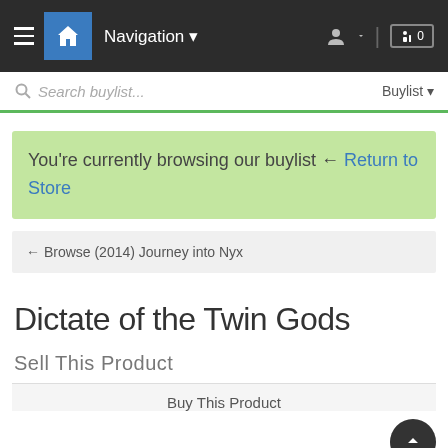Navigation
Search buylist...
Buylist
You're currently browsing our buylist ← Return to Store
← Browse (2014) Journey into Nyx
Dictate of the Twin Gods
Sell This Product
Buy This Product